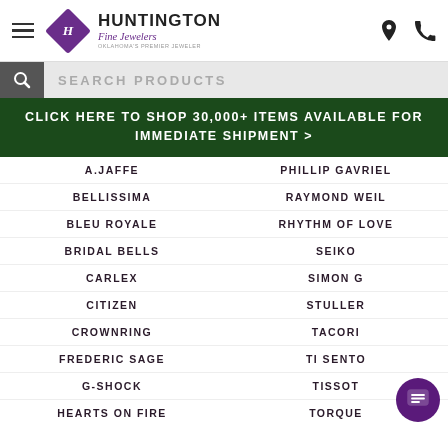Huntington Fine Jewelers - Oklahoma's Premier Jeweler
SEARCH PRODUCTS
CLICK HERE TO SHOP 30,000+ ITEMS AVAILABLE FOR IMMEDIATE SHIPMENT >
A.JAFFE
PHILLIP GAVRIEL
BELLISSIMA
RAYMOND WEIL
BLEU ROYALE
RHYTHM OF LOVE
BRIDAL BELLS
SEIKO
CARLEX
SIMON G
CITIZEN
STULLER
CROWNRING
TACORI
FREDERIC SAGE
TI SENTO
G-SHOCK
TISSOT
HEARTS ON FIRE
TORQUE